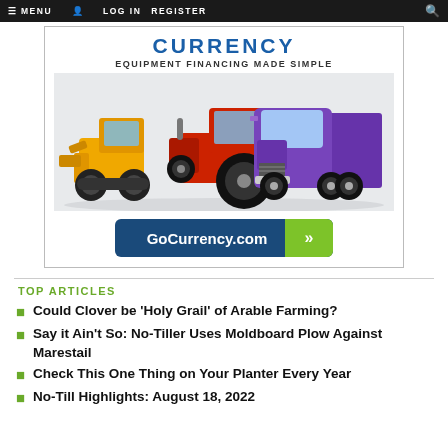MENU  LOG IN  REGISTER
[Figure (illustration): Advertisement for GoCurrency.com — Equipment Financing Made Simple. Shows a yellow skid steer loader, red tractor, and purple semi truck. Button reads GoCurrency.com with green arrow.]
TOP ARTICLES
Could Clover be 'Holy Grail' of Arable Farming?
Say it Ain't So: No-Tiller Uses Moldboard Plow Against Marestail
Check This One Thing on Your Planter Every Year
No-Till Highlights: August 18, 2022